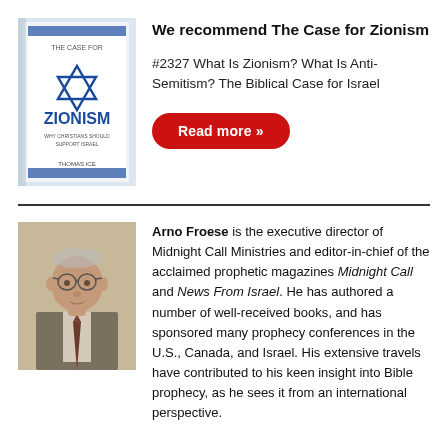[Figure (illustration): Book cover of 'The Case for Zionism' by Thomas Ice, showing a blue Star of David on a white background with the title in blue text.]
We recommend The Case for Zionism
#2327 What Is Zionism? What Is Anti-Semitism? The Biblical Case for Israel
Read more »
[Figure (photo): Headshot of Arno Froese, an older man with glasses, wearing a suit jacket with a striped tie.]
Arno Froese is the executive director of Midnight Call Ministries and editor-in-chief of the acclaimed prophetic magazines Midnight Call and News From Israel. He has authored a number of well-received books, and has sponsored many prophecy conferences in the U.S., Canada, and Israel. His extensive travels have contributed to his keen insight into Bible prophecy, as he sees it from an international perspective.